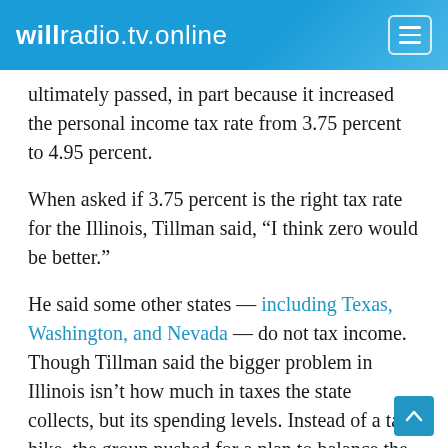willradio.tv.online
ultimately passed, in part because it increased the personal income tax rate from 3.75 percent to 4.95 percent.
When asked if 3.75 percent is the right tax rate for the Illinois, Tillman said, “I think zero would be better.”
He said some other states — including Texas, Washington, and Nevada — do not tax income. Though Tillman said the bigger problem in Illinois isn’t how much in taxes the state collects, but its spending levels. Instead of a tax hike, the group pushed for a plan to balance the budget that included